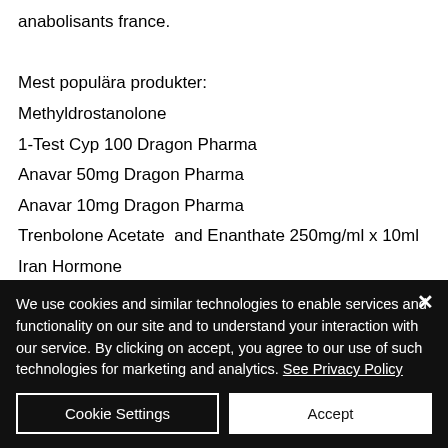anabolisants france.
Mest populära produkter:
Methyldrostanolone
1-Test Cyp 100 Dragon Pharma
Anavar 50mg Dragon Pharma
Anavar 10mg Dragon Pharma
Trenbolone Acetate  and Enanthate 250mg/ml x 10ml
Iran Hormone
Alphabol 10 mg (50 tabs)
Turinabol 10 mg (50 tabs)
We use cookies and similar technologies to enable services and functionality on our site and to understand your interaction with our service. By clicking on accept, you agree to our use of such technologies for marketing and analytics. See Privacy Policy
Cookie Settings
Accept